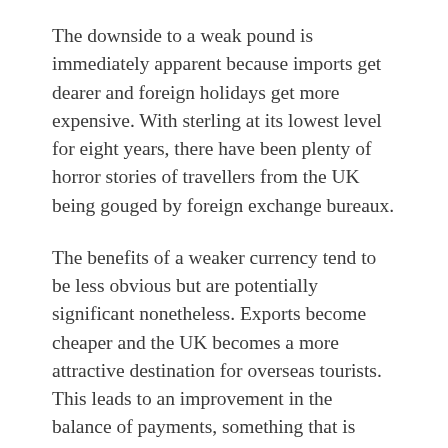The downside to a weak pound is immediately apparent because imports get dearer and foreign holidays get more expensive. With sterling at its lowest level for eight years, there have been plenty of horror stories of travellers from the UK being gouged by foreign exchange bureaux.
The benefits of a weaker currency tend to be less obvious but are potentially significant nonetheless. Exports become cheaper and the UK becomes a more attractive destination for overseas tourists. This leads to an improvement in the balance of payments, something that is sorely needed in Britain's case.
A breakdown of the UK's latest growth